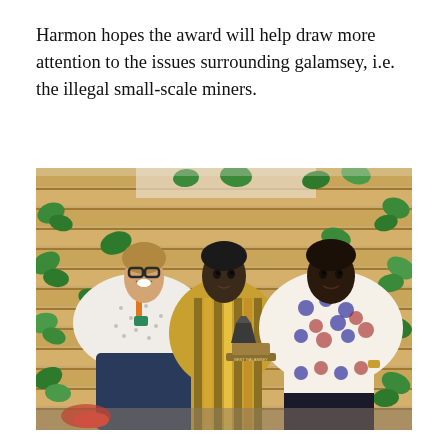Harmon hopes the award will help draw more attention to the issues surrounding galamsey, i.e. the illegal small-scale miners.
[Figure (photo): Three men posing together holding a trophy/award. The man on the left is wearing glasses, a patterned white shirt and has an orange lanyard. The middle man wears a striped traditional African outfit. The man on the right wears a white patterned African print shirt. They are standing in front of a wooden pallet wall decorated with artificial green ivy leaves.]